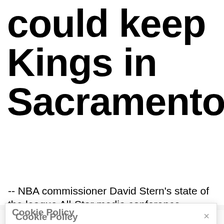could keep Kings in Sacramento
-- NBA commissioner David Stern's state of the league All-Star media conference Saturday
Cookie Policy
We use cookies to provide you with the best online experience. If you continue browsing, we consider that you accept our Cookie Policy, and also agree to the terms of our Privacy Policy and Terms of Use.
I Accept